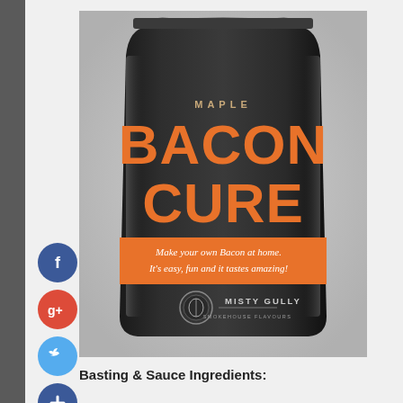[Figure (photo): A black resealable pouch of 'Maple Bacon Cure' by Misty Gully. The package has large orange text reading 'BACON CURE' with 'MAPLE' above it in smaller text. An orange banner across the middle reads 'Make your own Bacon at home. It's easy, fun and it tastes amazing!' The Misty Gully logo and branding appear at the bottom of the package.]
[Figure (infographic): Social media icon buttons on left side: Facebook (blue), Google+ (red), Twitter (light blue), and an Add (+) button (dark blue)]
Basting & Sauce Ingredients: